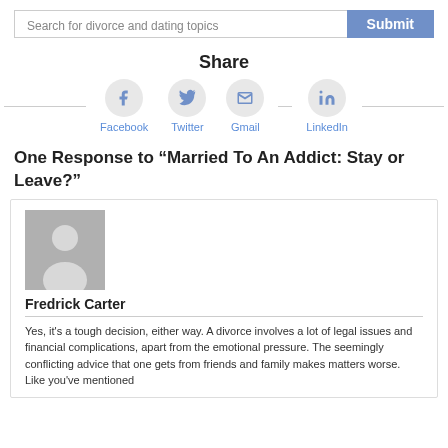Search for divorce and dating topics | Submit
Share
[Figure (infographic): Social share buttons: Facebook, Twitter, Gmail, LinkedIn]
One Response to “Married To An Addict: Stay or Leave?”
[Figure (illustration): Default user avatar placeholder image]
Fredrick Carter
Yes, it's a tough decision, either way. A divorce involves a lot of legal issues and financial complications, apart from the emotional pressure. The seemingly conflicting advice that one gets from friends and family makes matters worse. Like you've mentioned